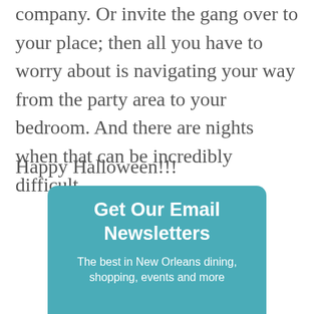company. Or invite the gang over to your place; then all you have to worry about is navigating your way from the party area to your bedroom. And there are nights when that can be incredibly difficult.
Happy Halloween!!!
Get Our Email Newsletters
The best in New Orleans dining, shopping, events and more